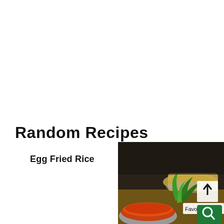Random Recipes
Egg Fried Rice
[Figure (photo): A food photo showing a bowl of orange/red curry sauce, a plate with flatbread/paratha, and green plant leaves on a wooden table surface, with UI overlay elements including an upload arrow button, a Favorite star button, and a green search magnifier button.]